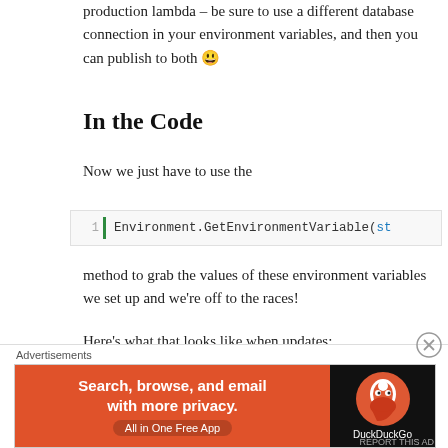production lambda – be sure to use a different database connection in your environment variables, and then you can publish to both 😀
In the Code
Now we just have to use the
[Figure (screenshot): Code snippet showing: 1 | Environment.GetEnvironmentVariable(st]
method to grab the values of these environment variables we set up and we're off to the races!
Here's what that looks like when updates:
[Figure (other): Advertisement banner: DuckDuckGo - Search, browse, and email with more privacy. All in One Free App.]